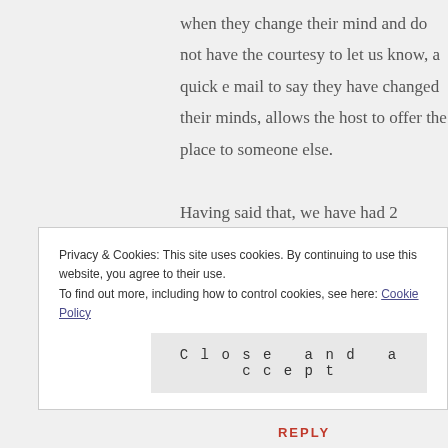when they change their mind and do not have the courtesy to let us know, a quick e mail to say they have changed their minds, allows the host to offer the place to someone else.

Having said that, we have had 2 wonderful workaways (1 of them came back and stayed with us on her return trip to the USA and will visit us as a friend this summer) and one not so wonderful workaway
Privacy & Cookies: This site uses cookies. By continuing to use this website, you agree to their use.
To find out more, including how to control cookies, see here: Cookie Policy
Close and accept
REPLY